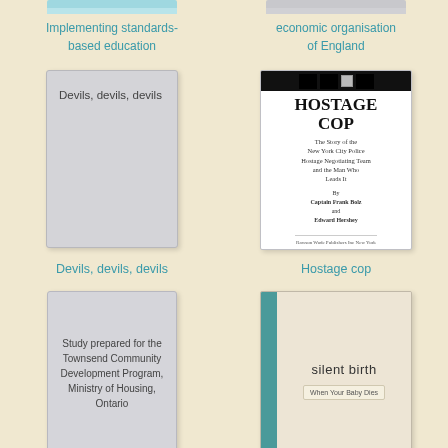[Figure (illustration): Partial book cover for 'Implementing standards-based education']
Implementing standards-based education
[Figure (illustration): Partial book cover for 'economic organisation of England']
economic organisation of England
[Figure (illustration): Book cover for 'Devils, devils, devils' - plain grey cover with text]
Devils, devils, devils
[Figure (illustration): Book cover for 'Hostage cop' by Captain Frank Bolz and Edward Hershey, published by Rawson Wade Publishers Inc New York]
Hostage cop
[Figure (illustration): Book cover for study prepared for the Townsend Community Development Program, Ministry of Housing, Ontario]
[Figure (illustration): Book cover for 'silent birth - When Your Baby Dies']